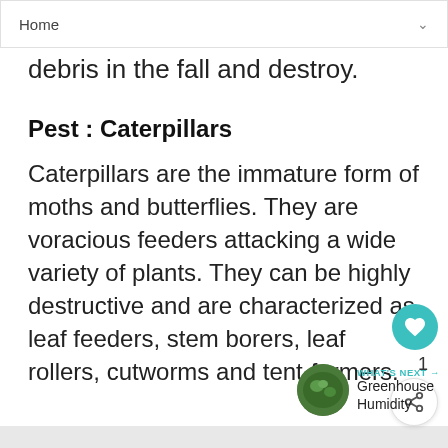Home
and remove all leaves, flowers, or debris in the fall and destroy.
Pest : Caterpillars
Caterpillars are the immature form of moths and butterflies. They are voracious feeders attacking a wide variety of plants. They can be highly destructive and are characterized as leaf feeders, stem borers, leaf rollers, cutworms and tent-formers.
WHAT'S NEXT → Greenhouse Humidity